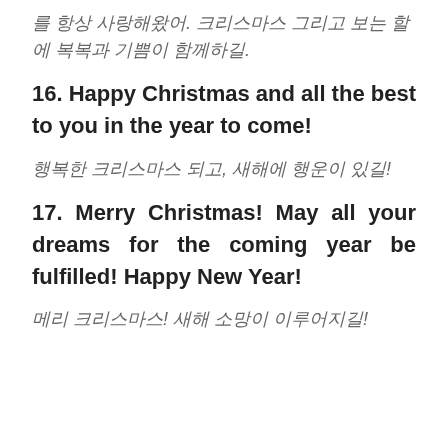를 항상 사랑해왔어. 크리스마스 그리고 보는 할에 복복과 기쁨이 함께하길.
16.  Happy Christmas and all the best to you in the year to come!
행복한 크리스마스 되고, 새해에 행운이 있길!
17.  Merry Christmas! May all your dreams for the coming year be fulfilled!  Happy New Year!
메리 크리스마스! 새해 소망이 이루어지길!